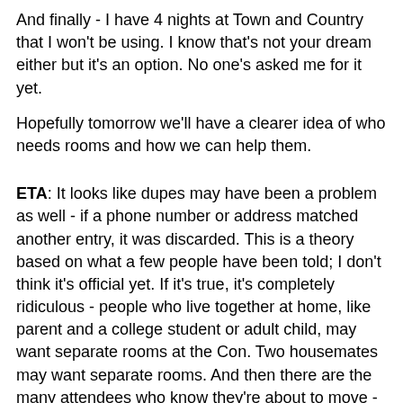And finally - I have 4 nights at Town and Country that I won't be using. I know that's not your dream either but it's an option. No one's asked me for it yet.
Hopefully tomorrow we'll have a clearer idea of who needs rooms and how we can help them.
ETA: It looks like dupes may have been a problem as well - if a phone number or address matched another entry, it was discarded. This is a theory based on what a few people have been told; I don't think it's official yet. If it's true, it's completely ridiculous - people who live together at home, like parent and a college student or adult child, may want separate rooms at the Con. Two housemates may want separate rooms. And then there are the many attendees who know they're about to move - maybe they're graduating, maybe they're job-hunting, maybe they hate their apartment - and so they put down a friend's place as a more permanent address.
It's clear we need an explanation from On Peak of how the